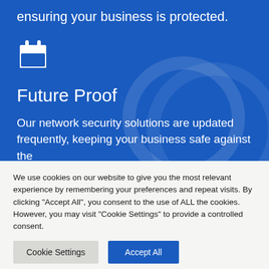ensuring your business is protected.
[Figure (illustration): White calendar icon on blue background]
Future Proof
Our network security solutions are updated frequently, keeping your business safe against the latest threats
We use cookies on our website to give you the most relevant experience by remembering your preferences and repeat visits. By clicking "Accept All", you consent to the use of ALL the cookies. However, you may visit "Cookie Settings" to provide a controlled consent.
Cookie Settings | Accept All